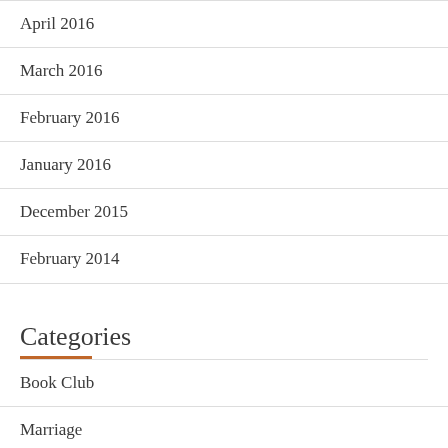April 2016
March 2016
February 2016
January 2016
December 2015
February 2014
Categories
Book Club
Marriage
Miraculous